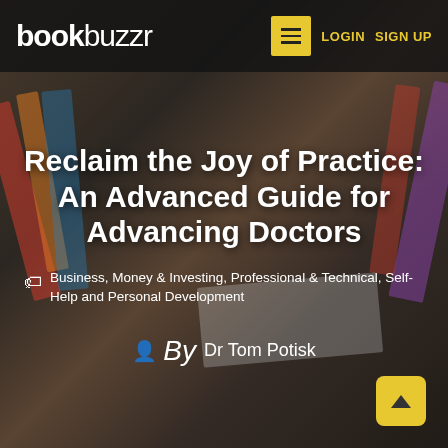bookbuzzr | LOGIN | SIGN UP
Reclaim the Joy of Practice: An Advanced Guide for Advancing Doctors
Business, Money & Investing, Professional & Technical, Self-Help and Personal Development
By Dr Tom Potisk